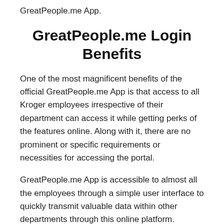GreatPeople.me App.
GreatPeople.me Login Benefits
One of the most magnificent benefits of the official GreatPeople.me App is that access to all Kroger employees irrespective of their department can access it while getting perks of the features online. Along with it, there are no prominent or specific requirements or necessities for accessing the portal.
GreatPeople.me App is accessible to almost all the employees through a simple user interface to quickly transmit valuable data within other departments through this online platform.